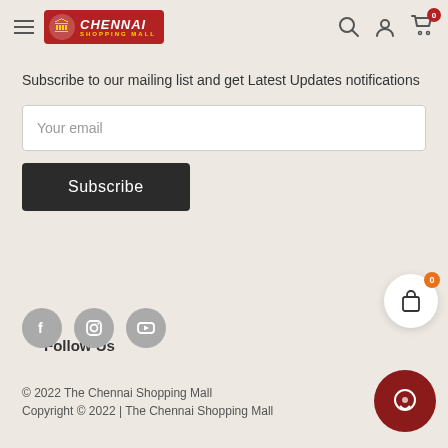Chennai Shopping Mall — navigation header with hamburger menu, logo, search, account, and cart icons
Subscribe to our mailing list and get Latest Updates notifications
Your email
Subscribe
Follow Us
[Figure (illustration): Social media icons: Facebook, Instagram, YouTube circular grey buttons]
© 2022 The Chennai Shopping Mall
Copyright © 2022 | The Chennai Shopping Mall